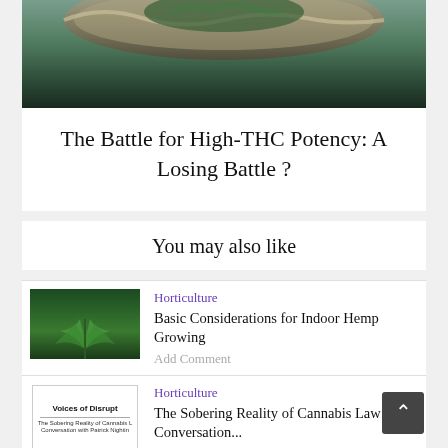[Figure (photo): Top portion of a decorative bowl or mortar with plant material, partially cropped]
The Battle for High-THC Potency: A Losing Battle ?
You may also like
[Figure (photo): Cannabis/hemp plant with green leaves under indoor growing conditions]
Horticulture
Basic Considerations for Indoor Hemp Growing
Add Comment
[Figure (photo): Voices of Disrupt thumbnail — The Sobering Reality of Cannabis Law: A Conversation with Patrick Nightin]
Horticulture
The Sobering Reality of Cannabis Law: A Conversation...
Add Comment
[Figure (photo): Close-up of a cannabis plant bud with green leaves]
Horticulture
The Parts of a Cannabis Plant and What They Can